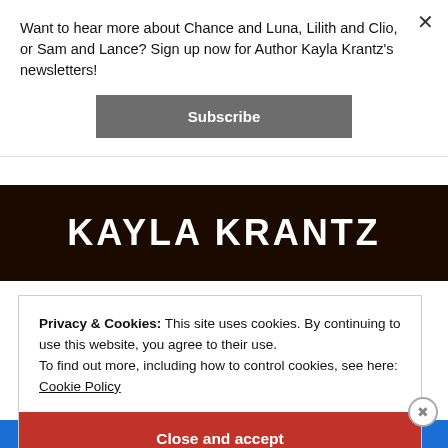Want to hear more about Chance and Luna, Lilith and Clio, or Sam and Lance? Sign up now for Author Kayla Krantz's newsletters!
[Figure (other): Subscribe button — grey rounded rectangle with white bold text 'Subscribe']
[Figure (photo): Dark banner image with bold white all-caps text 'KAYLA KRANTZ' on a dark/brown background]
Privacy & Cookies: This site uses cookies. By continuing to use this website, you agree to their use.
To find out more, including how to control cookies, see here:
Cookie Policy
[Figure (other): Red 'Close and accept' button]